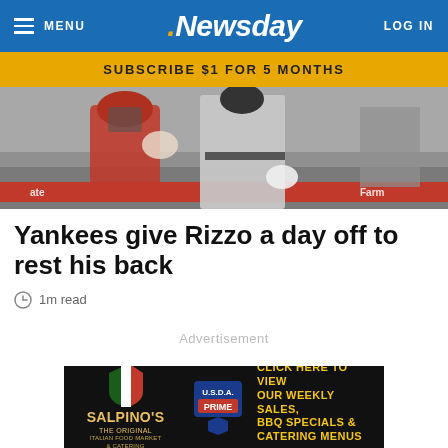MENU  Newsday  LOG IN
SUBSCRIBE $1 FOR 5 MONTHS
[Figure (photo): Baseball photo showing a catcher in red gear and a batter in grey Yankees uniform at a game, with a State Farm advertisement banner in the background.]
Yankees give Rizzo a day off to rest his back
1m read
Advertisement
[Figure (other): Salpino's Italian Food Market & Catering advertisement banner with USDA Prime logo and text: THE ORIGINAL SALPINO'S ITALIAN FOOD MARKET & CATERING / CLICK HERE TO VIEW OUR WEEKLY SALES, BBQ SPECIALS & CATERING MENUS / North Baltimore location only]